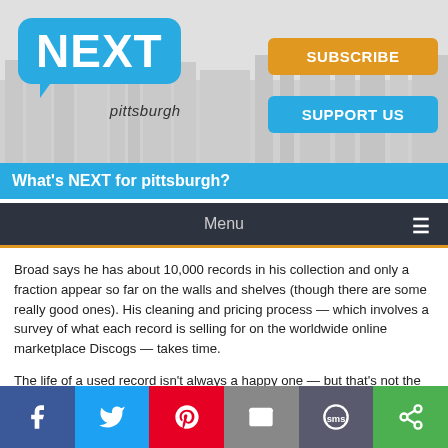[Figure (screenshot): Next Pittsburgh website header with logo, Subscribe and Support Us buttons, city skyline silhouette background]
What's NEXT for pittsburgh?
Menu
Broad says he has about 10,000 records in his collection and only a fraction appear so far on the walls and shelves (though there are some really good ones). His cleaning and pricing process — which involves a survey of what each record is selling for on the worldwide online marketplace Discogs — takes time.
The life of a used record isn't always a happy one — but that's not the case here.
[Figure (infographic): Social sharing bar with Facebook, Twitter, Pinterest, Email, SMS, and share buttons]